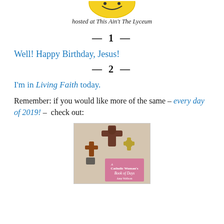[Figure (illustration): Top partial image of a logo or graphic with text 'hosted at This Ain't The Lyceum' below it]
hosted at This Ain't The Lyceum
— 1 —
Well! Happy Birthday, Jesus!
— 2 —
I'm in Living Faith today.
Remember: if you would like more of the same – every day of 2019! –  check out:
[Figure (photo): Book cover of 'A Catholic Woman's Book of Days' by Amy Welborn, showing decorative crosses on the cover]